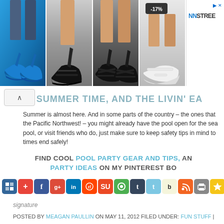[Figure (photo): Advertisement strip showing four shoe product images including blue heeled sandals, black strappy heels, black cross-strap heels, and white wedge sandals with -17% discount tag, and NNSTREET brand logo on the right]
SUMMER TIME, AND THE LIVIN' EA...
Summer is almost here. And in some parts of the country – the ones that aren't the Pacific Northwest! – you might already have the pool open for the sea... pool, or visit friends who do, just make sure to keep safety tips in mind to... times end safely!
FIND COOL POOL PARTY GEAR AND TIPS, AN... PARTY IDEAS ON MY PINTEREST BO...
[Figure (infographic): Row of social media sharing icons including Delicious, AddThis, Facebook, Google+, LinkedIn, Reddit, StumbleUpon, Digg, Tumblr, Twitter, Bebo, RSS, Print, Bookmark, Email]
[Figure (illustration): Signature image placeholder]
POSTED BY MEAGAN PAULLIN ON MAY 11, 2012 FILED UNDER: FUN STUFF |